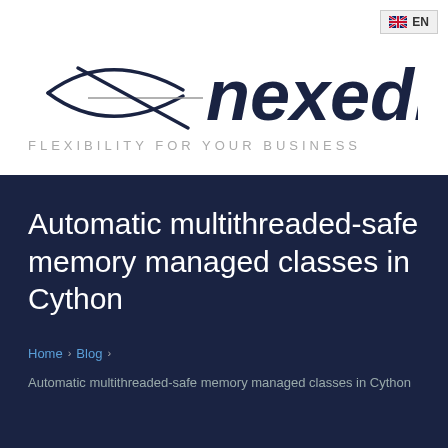[Figure (logo): Nexedi logo with stylized arrow/fish symbol and text 'nexedi', tagline 'FLEXIBILITY FOR YOUR BUSINESS']
Automatic multithreaded-safe memory managed classes in Cython
Home › Blog › Automatic multithreaded-safe memory managed classes in Cython